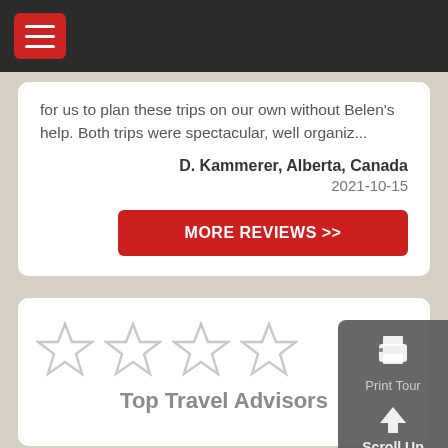Navigation bar with hamburger menu
for us to plan these trips on our own without Belen's help. Both trips were spectacular, well organiz...
D. Kammerer, Alberta, Canada
2021-10-15
MORE REVIEWS >>
[Figure (illustration): Four empty star outlines representing a rating widget]
Top Travel Advisors
[Figure (infographic): Floating grey panel with Print Tour (printer icon) and Scroll Up (arrow icon) buttons]